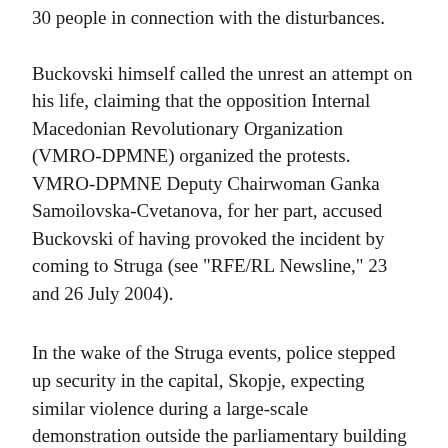30 people in connection with the disturbances.
Buckovski himself called the unrest an attempt on his life, claiming that the opposition Internal Macedonian Revolutionary Organization (VMRO-DPMNE) organized the protests. VMRO-DPMNE Deputy Chairwoman Ganka Samoilovska-Cvetanova, for her part, accused Buckovski of having provoked the incident by coming to Struga (see "RFE/RL Newsline," 23 and 26 July 2004).
In the wake of the Struga events, police stepped up security in the capital, Skopje, expecting similar violence during a large-scale demonstration outside the parliamentary building in Skopje in the evening of 26 July. The demonstration was organized by a broad coalition of ethnic Macedonian opposition parties, NGOs, the Macedonian Orthodox Church,